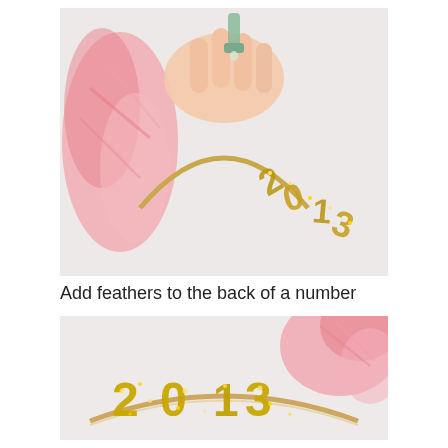[Figure (photo): Close-up photo of a hand using a glue gun to attach gold glitter number/letter charms to a gold headband, with pink feathers visible on the left side, on a white background.]
Add feathers to the back of a number
[Figure (photo): Photo of a gold headband with gold glitter '2013' numbers attached, with pink fluffy feathers visible in the upper right, on a white background.]